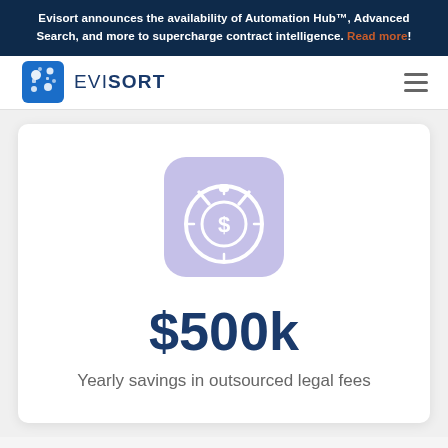Evisort announces the availability of Automation Hub™, Advanced Search, and more to supercharge contract intelligence. Read more!
[Figure (logo): Evisort logo with blue puzzle-piece icon and the text EVI SORT]
[Figure (illustration): Stopwatch/clock icon with a dollar sign in the center, on a rounded purple/lavender square background]
$500k
Yearly savings in outsourced legal fees